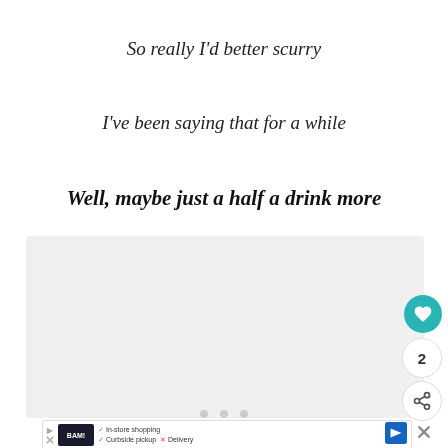So really I'd better scurry
I've been saying that for a while
Well, maybe just a half a drink more
[Figure (other): Gray content/ad placeholder box with navigation dots]
[Figure (other): UI buttons: heart/like button (teal), count badge showing 2, share button]
[Figure (other): Ad banner: BAM! Books store ad with In-store shopping checkmark, Curbside pickup checkmark, Delivery with X, and navigation arrow icon]